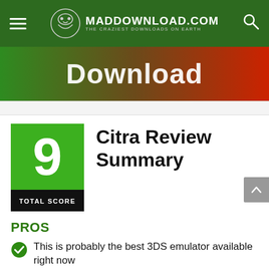MADDOWNLOAD.COM — THE CRAZIEST DOWNLOADS ON EARTH
[Figure (illustration): Green-to-red gradient download banner with large white 'Download' text]
[Figure (infographic): Score box showing '9' in green with 'TOTAL SCORE' label in black, beside 'Citra Review Summary' title]
PROS
This is probably the best 3DS emulator available right now
It could not be any easier to use
I liked how they gave each game a ranking depending on how it worked